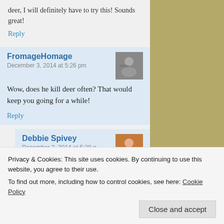deer, I will definitely have to try this! Sounds great!
Reply
FromageHomage
December 3, 2014 at 5:26 pm
[Figure (photo): Black and white avatar photo of FromageHomage]
Wow, does he kill deer often? That would keep you going for a while!
Reply
Debbie Spivey
December 3, 2014 at 5:28 p
[Figure (photo): Color photo avatar of Debbie Spivey in red/orange dress]
Privacy & Cookies: This site uses cookies. By continuing to use this website, you agree to their use.
To find out more, including how to control cookies, see here: Cookie Policy
Close and accept